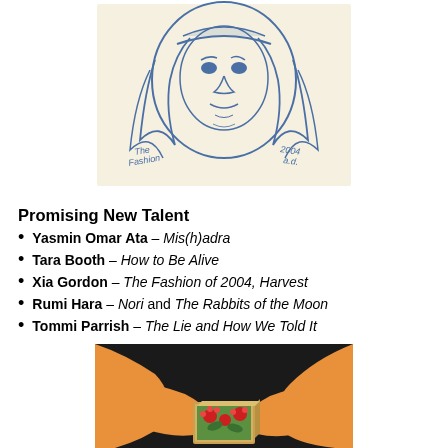[Figure (illustration): Blue ink drawing of a face with long hair and text reading 'The Fashion of 2004 a.d.' on a cream/off-white background card]
Promising New Talent
Yasmin Omar Ata – Mis(h)adra
Tara Booth – How to Be Alive
Xia Gordon – The Fashion of 2004, Harvest
Rumi Hara – Nori and The Rabbits of the Moon
Tommi Parrish – The Lie and How We Told It
[Figure (illustration): Colorful graphic novel cover art showing hands holding a decorative box with floral pattern, orange and black color scheme]